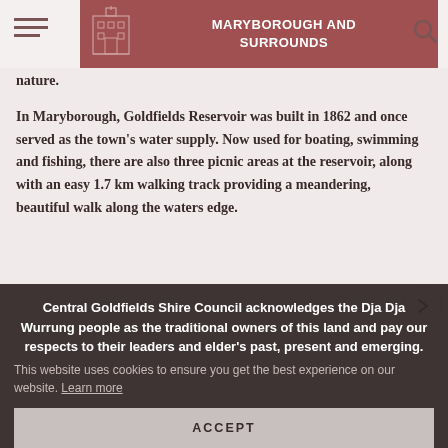MARYBOROUGH AND SURROUNDS
nature.
In Maryborough, Goldfields Reservoir was built in 1862 and once served as the town's water supply. Now used for boating, swimming and fishing, there are also three picnic areas at the reservoir, along with an easy 1.7 km walking track providing a meandering, beautiful walk along the waters edge.
This website uses cookies to ensure you get the best experience on our website. Learn more
Central Goldfields Shire Council acknowledges the Dja Dja Wurrung people as the traditional owners of this land and pay our respects to their leaders and elder's past, present and emerging.
ACCEPT